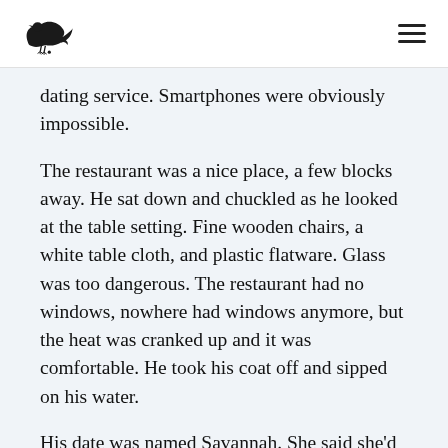[crow logo] [hamburger menu]
dating service. Smartphones were obviously impossible.
The restaurant was a nice place, a few blocks away. He sat down and chuckled as he looked at the table setting. Fine wooden chairs, a white table cloth, and plastic flatware. Glass was too dangerous. The restaurant had no windows, nowhere had windows anymore, but the heat was cranked up and it was comfortable. He took his coat off and sipped on his water.
His date was named Savannah. She said she'd be wearing a blue dress and a flower in her hair. He saw her come in and his heart skipped a beat. She was gorgeous, with pitch black hair down past her shoulders and eyes like golden fire. She